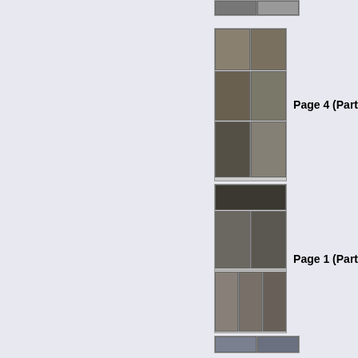[Figure (illustration): Comic page thumbnail - Page 4 (Part), showing multiple comic panels with action scenes]
Page 4 (Part
[Figure (illustration): Comic page thumbnail - Page 1 (Part), showing Meltdown Man title and action panels]
Page 1 (Part
[Figure (illustration): Comic page thumbnail - Page 2 (Part), showing multiple comic panels]
Page 2 (Part
[Figure (illustration): Comic page thumbnail - Page 3 (Part), showing multiple comic panels]
Page 3 (Part